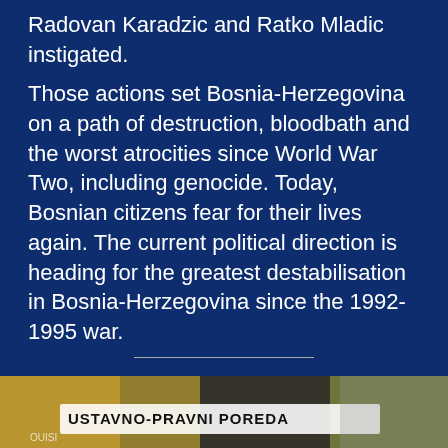Radovan Karadzic and Ratko Mladic instigated.
Those actions set Bosnia-Herzegovina on a path of destruction, bloodbath and the worst atrocities since World War Two, including genocide. Today, Bosnian citizens fear for their lives again. The current political direction is heading for the greatest destabilisation in Bosnia-Herzegovina since the 1992-1995 war.
[Figure (photo): Photograph of protesters holding a banner reading 'USTAVNO-PRAVNI POREDAJ' at an outdoor demonstration with autumn trees in the background.]
[Figure (infographic): DuckDuckGo advertisement with orange background showing 'Search, browse, and email with more privacy. All in One Free App' with a phone graphic and DuckDuckGo logo.]